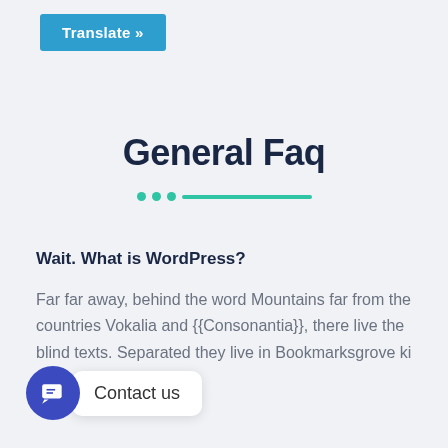Translate »
General Faq
Wait. What is WordPress?
Far far away, behind the word Mountains far from the countries Vokalia and {{Consonantia}}, there live the blind texts. Separated they live in Bookmarksgrove ki
Contact us